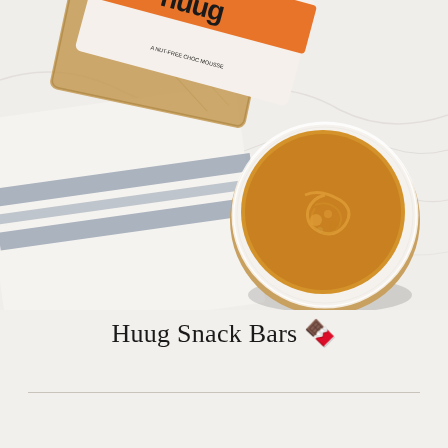[Figure (photo): Overhead flat-lay photo on a white marble surface. A Huug brand snack bar wrapper (orange branding, 'Salted Caramel' flavor, 'A NUT-FREE CHOC MOUSSE' text) is visible at the top alongside a wooden cutting board and a folded grey/blue striped linen cloth. A small white ceramic bowl filled with golden caramel-colored nut butter sits on the marble surface to the right.]
Huug Snack Bars 🍫